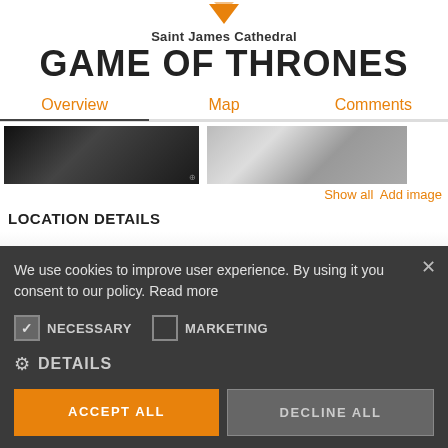[Figure (logo): Orange downward-pointing arrow/location pin logo icon at top center]
Saint James Cathedral
GAME OF THRONES
Overview   Map   Comments
[Figure (photo): Two thumbnail images side by side showing Game of Thrones scenes]
Show all   Add image
LOCATION DETAILS
We use cookies to improve user experience. By using it you consent to our policy. Read more
NECESSARY   MARKETING
DETAILS
ACCEPT ALL   DECLINE ALL